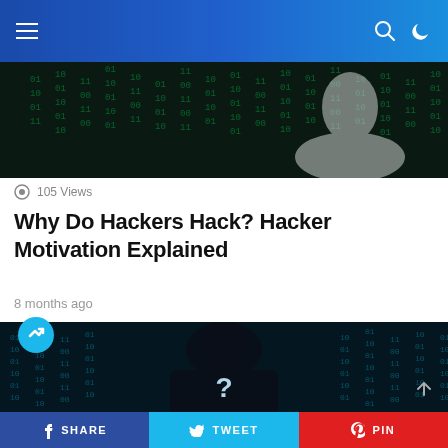Navigation bar with menu, search, and dark mode icons
[Figure (photo): Dark hacker-themed image with green matrix code rain and silhouette figure]
105 Views
Why Do Hackers Hack? Hacker Motivation Explained
8 months ago
[Figure (photo): Dark blue image of hooded hacker silhouette with a question mark on chest, against a background of blue digital code]
SHARE  TWEET  PIN